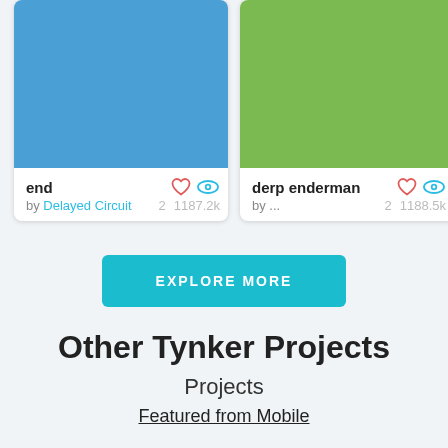[Figure (screenshot): Project card with blue thumbnail for project named 'end' by Delayed Circuit, 2 likes, 1187.2k views]
[Figure (screenshot): Project card with green thumbnail for project named 'derp enderman' by ..., 2 likes, 1188.5k views]
EXPLORE MORE
Other Tynker Projects
Projects
Featured from Mobile